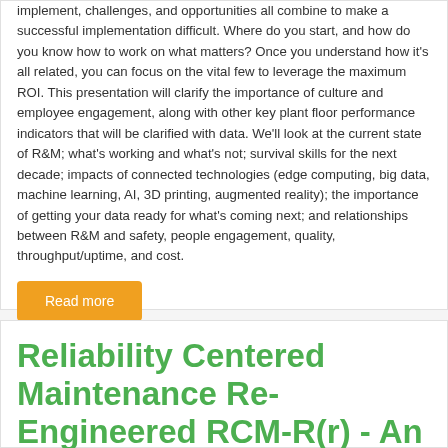implement, challenges, and opportunities all combine to make a successful implementation difficult. Where do you start, and how do you know how to work on what matters? Once you understand how it's all related, you can focus on the vital few to leverage the maximum ROI. This presentation will clarify the importance of culture and employee engagement, along with other key plant floor performance indicators that will be clarified with data. We'll look at the current state of R&M; what's working and what's not; survival skills for the next decade; impacts of connected technologies (edge computing, big data, machine learning, AI, 3D printing, augmented reality); the importance of getting your data ready for what's coming next; and relationships between R&M and safety, people engagement, quality, throughput/uptime, and cost.
Read more
Reliability Centered Maintenance Re-Engineered RCM-R(r) - An